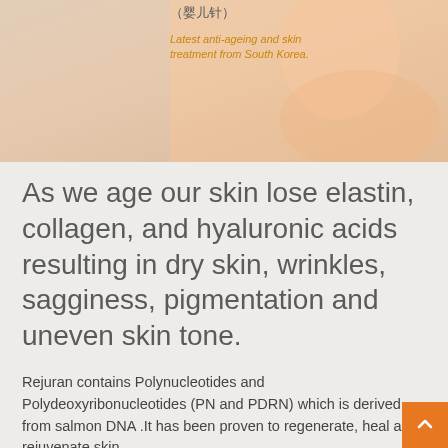[Figure (photo): Woman touching her face, beauty/skincare advertisement image with Chinese text (婴儿针) and text 'Latest anti-ageing and skin treatment from South Korea.' overlaid in gold/amber color]
As we age our skin lose elastin, collagen, and hyaluronic acids resulting in dry skin, wrinkles, sagginess, pigmentation and uneven skin tone.
Rejuran contains Polynucleotides and Polydeoxyribonucleotides (PN and PDRN) which is derived from salmon DNA .It has been proven to regenerate, heal and rejuvenate skin